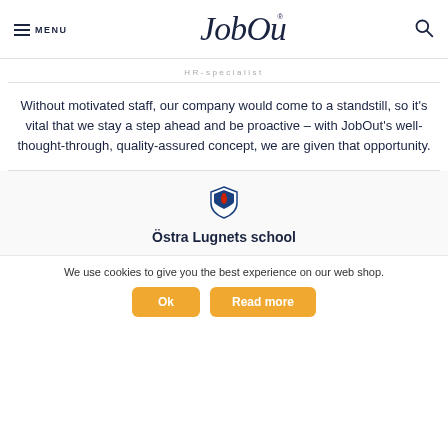MENU | JobOut | [search]
HR-specialist
Without motivated staff, our company would come to a standstill, so it's vital that we stay a step ahead and be proactive – with JobOut's well-thought-through, quality-assured concept, we are given that opportunity.
[Figure (logo): Shield/crest logo icon for Östra Lugnets school]
Östra Lugnets school
We use cookies to give you the best experience on our web shop.
Ok | Read more